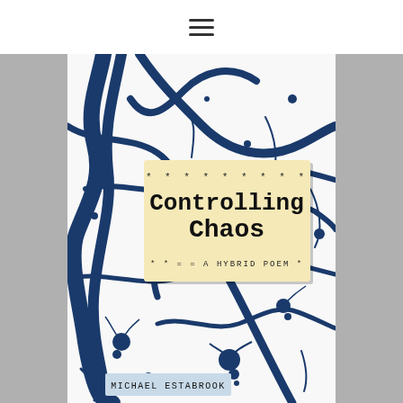[Figure (illustration): Book cover of 'Controlling Chaos: A Hybrid Poem' by Michael Estabrook. White background with abstract blue ink splatter art. A tan/cream rectangular label in the center displays the title 'Controlling Chaos' in typewriter font with decorative asterisks and equals signs, and the subtitle '* * = = A HYBRID POEM *'. At the bottom is a smaller label reading 'MICHAEL ESTABROOK'.]